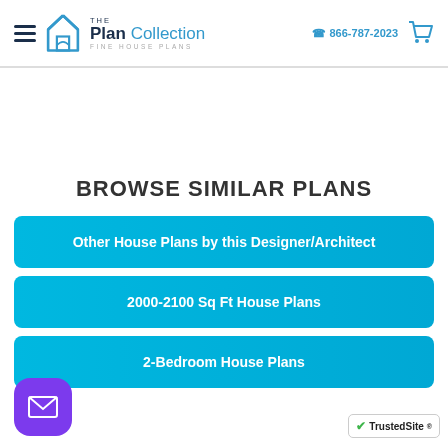The Plan Collection - Fine House Plans | 866-787-2023
BROWSE SIMILAR PLANS
Other House Plans by this Designer/Architect
2000-2100 Sq Ft House Plans
2-Bedroom House Plans